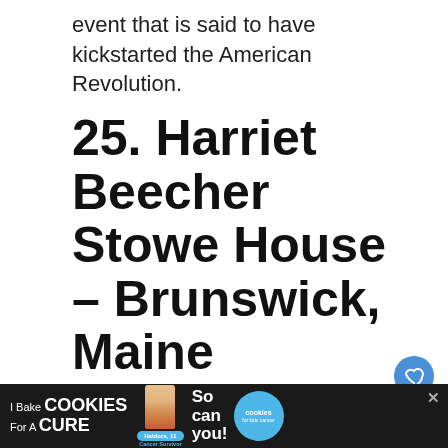event that is said to have kickstarted the American Revolution.
25. Harriet Beecher Stowe House – Brunswick, Maine
[Figure (photo): Photo of the Harriet Beecher Stowe House showing white colonial building with green shutters, and a historic marker plaque reading 'HARRIET BEECHER STOWE HOUSE' from Bowdoin College. A 'WHAT'S NEXT' sidebar shows 'The 10 Largest States in the...']
I Bake COOKIES For A CURE — So can you! (advertisement)